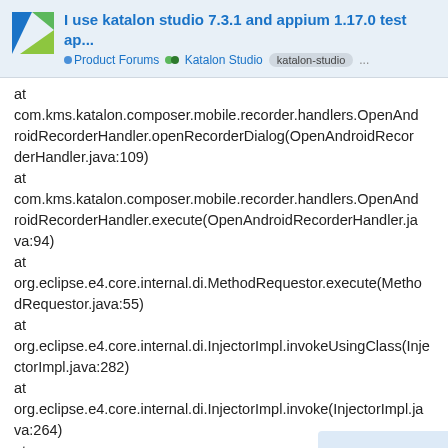I use katalon studio 7.3.1 and appium 1.17.0 test ap... • Product Forums •• Katalon Studio katalon-studio ...
at
com.kms.katalon.composer.mobile.recorder.handlers.OpenAndroidRecorderHandler.openRecorderDialog(OpenAndroidRecorderHandler.java:109)
at
com.kms.katalon.composer.mobile.recorder.handlers.OpenAndroidRecorderHandler.execute(OpenAndroidRecorderHandler.java:94)
at
org.eclipse.e4.core.internal.di.MethodRequestor.execute(MethodRequestor.java:55)
at
org.eclipse.e4.core.internal.di.InjectorImpl.invokeUsingClass(InjectorImpl.java:282)
at
org.eclipse.e4.core.internal.di.InjectorImpl.invoke(InjectorImpl.java:264)
at
org.eclipse.e4.core.contexts.ContextInject
1 / 5